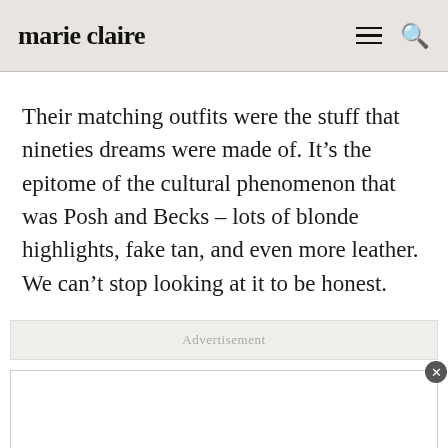marie claire
Their matching outfits were the stuff that nineties dreams were made of. It’s the epitome of the cultural phenomenon that was Posh and Becks – lots of blonde highlights, fake tan, and even more leather. We can’t stop looking at it to be honest.
Advertisement